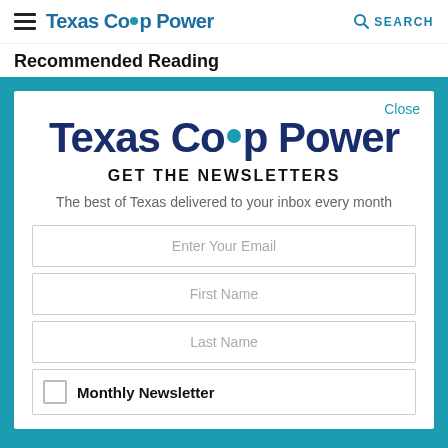Texas Co-op Power  SEARCH
Recommended Reading
[Figure (screenshot): Texas Co-op Power newsletter signup modal with logo, headline GET THE NEWSLETTERS, subtitle, email/first name/last name form fields, and Monthly Newsletter checkbox]
Texas Co-op Power
GET THE NEWSLETTERS
The best of Texas delivered to your inbox every month
Enter Your Email
First Name
Last Name
Monthly Newsletter